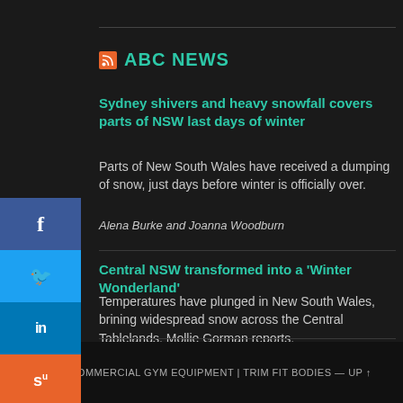ABC NEWS
Sydney shivers and heavy snowfall covers parts of NSW last days of winter
Parts of New South Wales have received a dumping of snow, just days before winter is officially over.
Alena Burke and Joanna Woodburn
Central NSW transformed into a 'Winter Wonderland'
Temperatures have plunged in New South Wales, brining widespread snow across the Central Tablelands. Mollie Gorman reports.
© 2022 COMMERCIAL GYM EQUIPMENT | TRIM FIT BODIES — UP ↑